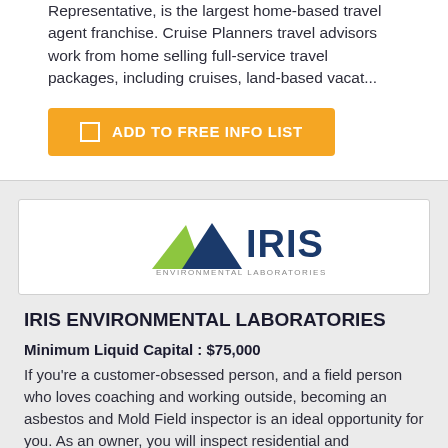Representative, is the largest home-based travel agent franchise. Cruise Planners travel advisors work from home selling full-service travel packages, including cruises, land-based vacat...
ADD TO FREE INFO LIST
[Figure (logo): IRIS Environmental Laboratories logo with green and dark blue mountain/triangle shapes]
IRIS ENVIRONMENTAL LABORATORIES
Minimum Liquid Capital : $75,000
If you're a customer-obsessed person, and a field person who loves coaching and working outside, becoming an asbestos and Mold Field inspector is an ideal opportunity for you. As an owner, you will inspect residential and commerci...